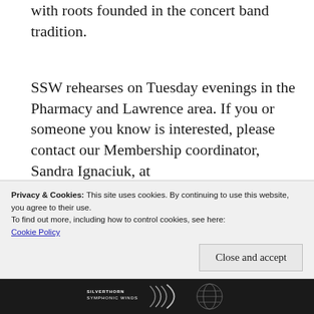with roots founded in the concert band tradition.
SSW rehearses on Tuesday evenings in the Pharmacy and Lawrence area. If you or someone you know is interested, please contact our Membership coordinator, Sandra Ignaciuk, at membership@silverthornsymphonicwinds.ca
Our next performance is ‘Musical Journey’ at
Privacy & Cookies: This site uses cookies. By continuing to use this website, you agree to their use.
To find out more, including how to control cookies, see here:
Cookie Policy
[Figure (logo): Silverthorn Symphonic Winds logo at the bottom of the page, white text on dark background with graphic elements]